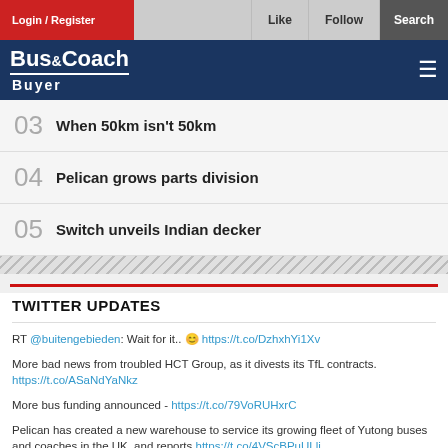Login / Register | Like | Follow | Search
Bus&Coach Buyer
03 When 50km isn't 50km
04 Pelican grows parts division
05 Switch unveils Indian decker
TWITTER UPDATES
RT @buitengebieden: Wait for it.. 😊 https://t.co/DzhxhYi1Xv
More bad news from troubled HCT Group, as it divests its TfL contracts. https://t.co/ASaNdYaNkz
More bus funding announced - https://t.co/79VoRUHxrC
Pelican has created a new warehouse to service its growing fleet of Yutong buses and coaches in the UK, and reports https://t.co/4VScBPuULli